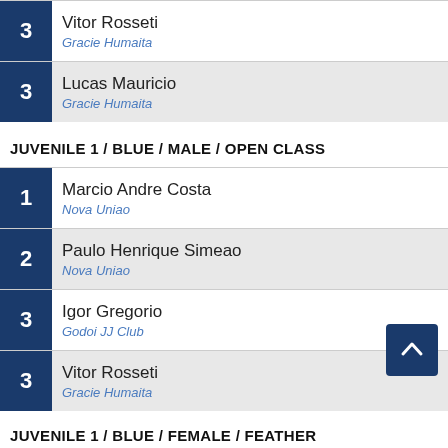3 - Vitor Rosseti / Gracie Humaita
3 - Lucas Mauricio / Gracie Humaita
JUVENILE 1 / BLUE / MALE / OPEN CLASS
1 - Marcio Andre Costa / Nova Uniao
2 - Paulo Henrique Simeao / Nova Uniao
3 - Igor Gregorio / Godoi JJ Club
3 - Vitor Rosseti / Gracie Humaita
JUVENILE 1 / BLUE / FEMALE / FEATHER